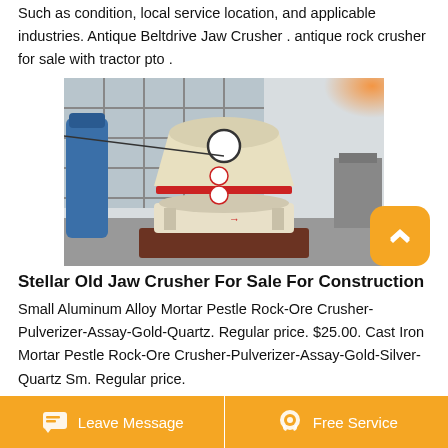Such as condition, local service location, and applicable industries. Antique Beltdrive Jaw Crusher . antique rock crusher for sale with tractor pto .
[Figure (photo): Industrial cone crusher machine (cream/white colored) in a factory/warehouse setting with large windows, a blue cylindrical tank to the left, and other machinery to the right. Orange light in upper right.]
Stellar Old Jaw Crusher For Sale For Construction
Small Aluminum Alloy Mortar Pestle Rock-Ore Crusher-Pulverizer-Assay-Gold-Quartz. Regular price. $25.00. Cast Iron Mortar Pestle Rock-Ore Crusher-Pulverizer-Assay-Gold-Silver-Quartz Sm. Regular price.
Leave Message   Free Service